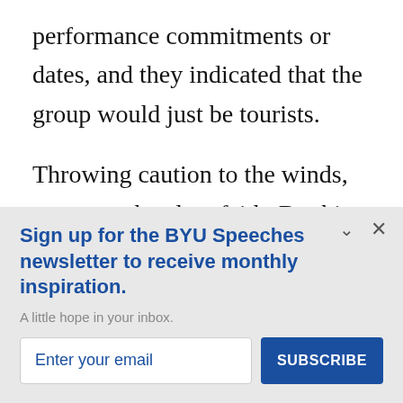performance commitments or dates, and they indicated that the group would just be tourists.
Throwing caution to the winds, we went ahead on faith. By this time, all of our performing groups were committed to other summer tours. Randy Boothe assembled a
Sign up for the BYU Speeches newsletter to receive monthly inspiration.
A little hope in your inbox.
Enter your email
SUBSCRIBE